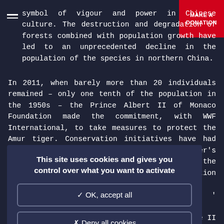symbol of vigour and power in Chinese culture. The destruction and degradation of forests combined with population growth have led to an unprecedented decline in the population of the species in northern China.
[Figure (other): Red 'MAKE A DONATION' button in the top-right corner]
In 2011, when barely more than 20 individuals remained – only one tenth of the population in the 1950s – the Prince Albert II of Monaco Foundation made the commitment, with WWF International, to take measures to protect the Amur tiger. Conservation initiatives have had lasting positive impacts throughout the tiger's habitat. The 96,000-hectare expansion of the Protected Tiger Area has enabled the creation of two new areas in [ongoing] [se II of the] [elp achieve] [ilations and] 2020.
[ng the visit,] [onegasque] [ngside the] [surveillance] [tion of the]
This site uses cookies and gives you control over what you want to activate
✓ OK, accept all
✗ Deny all cookies
Personalize